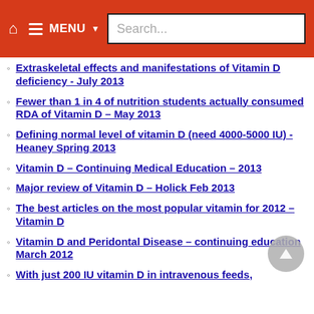MENU Search...
Extraskeletal effects and manifestations of Vitamin D deficiency - July 2013
Fewer than 1 in 4 of nutrition students actually consumed RDA of Vitamin D – May 2013
Defining normal level of vitamin D (need 4000-5000 IU) - Heaney Spring 2013
Vitamin D – Continuing Medical Education – 2013
Major review of Vitamin D – Holick Feb 2013
The best articles on the most popular vitamin for 2012 – Vitamin D
Vitamin D and Peridontal Disease – continuing education March 2012
With just 200 IU vitamin D in intravenous feeds,